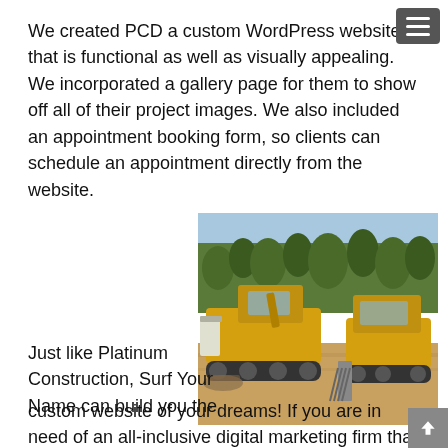We created PCD a custom WordPress website that is functional as well as visually appealing. We incorporated a gallery page for them to show off all of their project images. We also included an appointment booking form, so clients can schedule an appointment directly from the website.
[Figure (photo): Two yellow construction bulldozers on a dirt worksite with trees in the background]
Just like Platinum Construction, Surf Your Name can build you the custom website of your dreams! If you are in need of an all-inclusive digital marketing firm that you